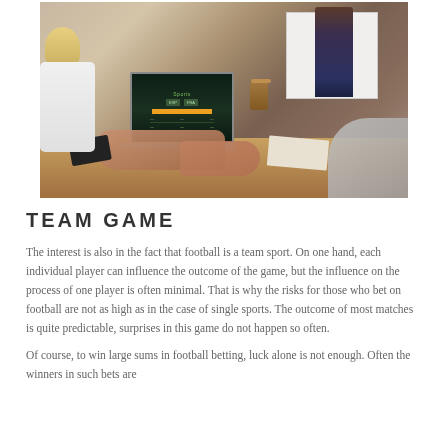[Figure (photo): Person using a laptop showing a sports betting website at a conference table, with another person writing on a whiteboard in the background and a woman sitting to the left.]
TEAM GAME
The interest is also in the fact that football is a team sport. On one hand, each individual player can influence the outcome of the game, but the influence on the process of one player is often minimal. That is why the risks for those who bet on football are not as high as in the case of single sports. The outcome of most matches is quite predictable, surprises in this game do not happen so often.
Of course, to win large sums in football betting, luck alone is not enough. Often the winners in such bets are